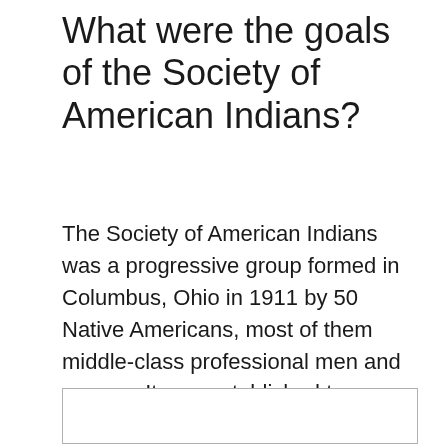What were the goals of the Society of American Indians?
The Society of American Indians was a progressive group formed in Columbus, Ohio in 1911 by 50 Native Americans, most of them middle-class professional men and women. It was established to address the problems facing Native Americans, such as ways to improve health, education, civil rights, and local government.
[Figure (other): Empty bordered box, likely a placeholder for an image or diagram.]